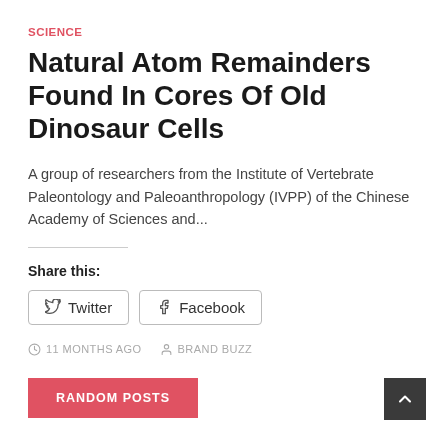SCIENCE
Natural Atom Remainders Found In Cores Of Old Dinosaur Cells
A group of researchers from the Institute of Vertebrate Paleontology and Paleoanthropology (IVPP) of the Chinese Academy of Sciences and...
Share this:
[Figure (other): Twitter and Facebook share buttons]
11 MONTHS AGO   BRAND BUZZ
RANDOM POSTS